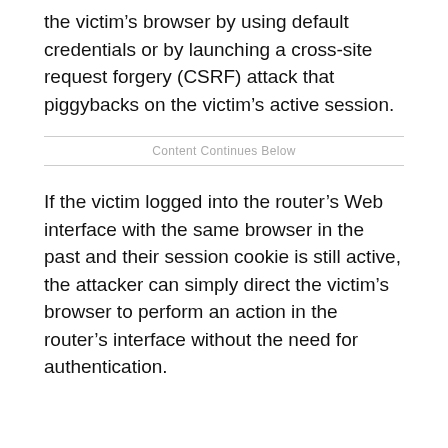the victim's browser by using default credentials or by launching a cross-site request forgery (CSRF) attack that piggybacks on the victim's active session.
Content Continues Below
If the victim logged into the router's Web interface with the same browser in the past and their session cookie is still active, the attacker can simply direct the victim's browser to perform an action in the router's interface without the need for authentication.